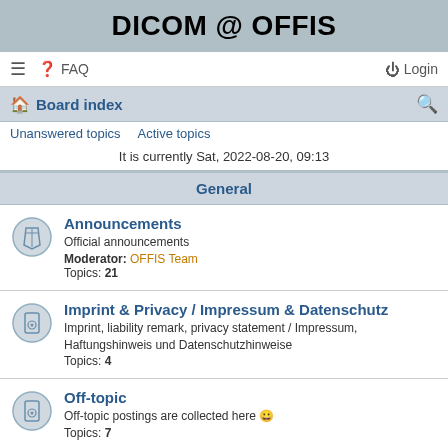DICOM @ OFFIS
≡  FAQ    Login
Board index
Unanswered topics   Active topics
It is currently Sat, 2022-08-20, 09:13
General
Announcements
Official announcements
Moderator: OFFIS Team
Topics: 21
Imprint & Privacy / Impressum & Datenschutz
Imprint, liability remark, privacy statement / Impressum, Haftungshinweis und Datenschutzhinweise
Topics: 4
Off-topic
Off-topic postings are collected here 😀
Topics: 7
DCMTK
DCMTK - FAQ
Frequently Asked Questions regarding DCMTK
Moderator: FAQ Team
Topics: 50
DCMTK - Installation
Downloading and installation of DCMTK